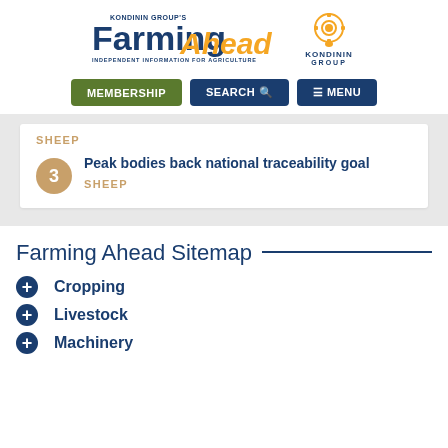[Figure (logo): Farming Ahead by Kondinin Group logo with 'INDEPENDENT INFORMATION FOR AGRICULTURE' tagline and Kondinin Group badge/logo]
[Figure (screenshot): Navigation bar with MEMBERSHIP (green button), SEARCH (blue button with magnifier icon), and MENU (blue button with hamburger icon)]
SHEEP
3
Peak bodies back national traceability goal
SHEEP
Farming Ahead Sitemap
Cropping
Livestock
Machinery